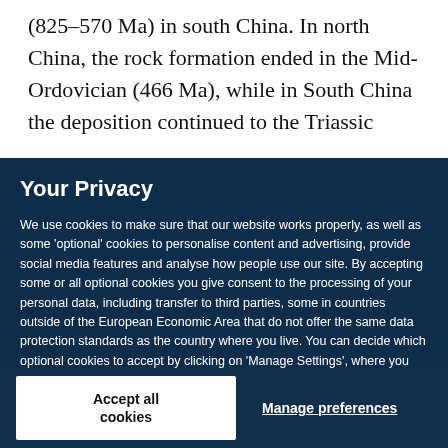(825–570 Ma) in south China. In north China, the rock formation ended in the Mid-Ordovician (466 Ma), while in South China the deposition continued to the Triassic
Your Privacy
We use cookies to make sure that our website works properly, as well as some 'optional' cookies to personalise content and advertising, provide social media features and analyse how people use our site. By accepting some or all optional cookies you give consent to the processing of your personal data, including transfer to third parties, some in countries outside of the European Economic Area that do not offer the same data protection standards as the country where you live. You can decide which optional cookies to accept by clicking on 'Manage Settings', where you can also find more information about how your personal data is processed. Further information can be found in our privacy policy.
Accept all cookies
Manage preferences